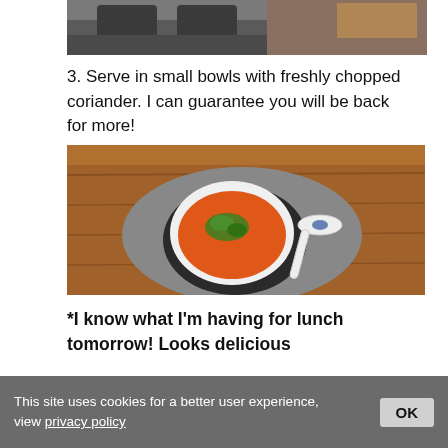[Figure (photo): Top portion of a kitchen scene with a stove/cooking surface visible, partially cropped]
3. Serve in small bowls with freshly chopped coriander. I can guarantee you will be back for more!
[Figure (photo): Overhead shot of a small white bowl filled with orange/tomato soup garnished with fresh coriander, placed on a grey round placemat with a decorative white spoon beside it, on a wooden table]
*I know what I'm having for lunch tomorrow! Looks delicious
This site uses cookies for a better user experience, view privacy policy